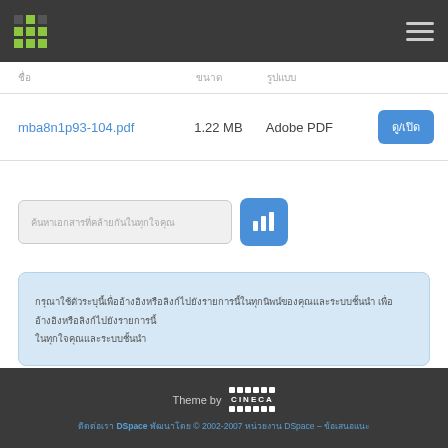DSpace navigation header
| ชื่อ | ขนาด | รูปแบบ |  |
| --- | --- | --- | --- |
| mba8n1p93-104.pdf | 1.22 MB | Adobe PDF | ดู/เปิด |
ค้นหาเอกสารที่คล้ายกัน (search similar)
กรุณาใช้ตัวระบุนี้เพื่ออ้างอิงหรือลิงก์ไปยังรายการนี้: http://...
Theme by CINECA | ติดต่อเรา DSpace พัฒนาโดย © 2002-2007 MIT และ HP – ซอฟต์แวร์ DSpace – ข้อเสนอแนะ